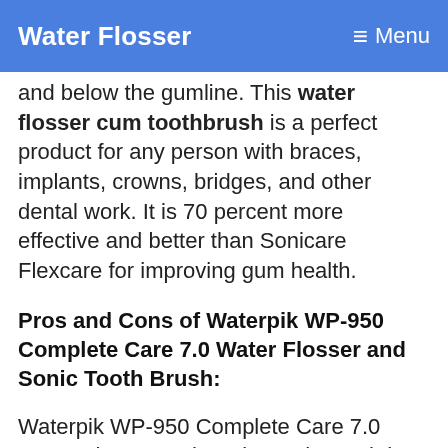Water Flosser  ≡ Menu
and below the gumline. This water flosser cum toothbrush is a perfect product for any person with braces, implants, crowns, bridges, and other dental work. It is 70 percent more effective and better than Sonicare Flexcare for improving gum health.
Pros and Cons of Waterpik WP-950 Complete Care 7.0 Water Flosser and Sonic Tooth Brush:
Waterpik WP-950 Complete Care 7.0 Water Flosser and Sonic Tooth Brush has a few pros and cons as given below: